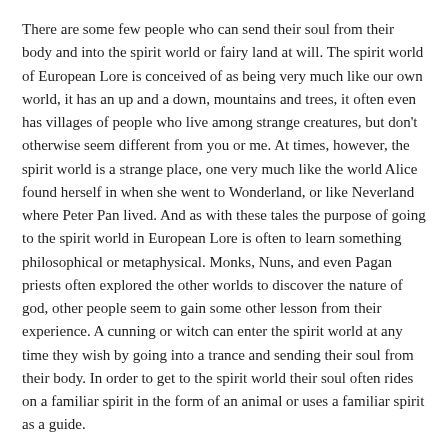There are some few people who can send their soul from their body and into the spirit world or fairy land at will. The spirit world of European Lore is conceived of as being very much like our own world, it has an up and a down, mountains and trees, it often even has villages of people who live among strange creatures, but don't otherwise seem different from you or me. At times, however, the spirit world is a strange place, one very much like the world Alice found herself in when she went to Wonderland, or like Neverland where Peter Pan lived. And as with these tales the purpose of going to the spirit world in European Lore is often to learn something philosophical or metaphysical. Monks, Nuns, and even Pagan priests often explored the other worlds to discover the nature of god, other people seem to gain some other lesson from their experience. A cunning or witch can enter the spirit world at any time they wish by going into a trance and sending their soul from their body. In order to get to the spirit world their soul often rides on a familiar spirit in the form of an animal or uses a familiar spirit as a guide.
Often times the shaman will take a journey to the spirit world for practical reasons, the cunning and witches would go their to meet with others of their kind, to gain new magical items, negotiate the land, to gain knowledge, or to negotiate...